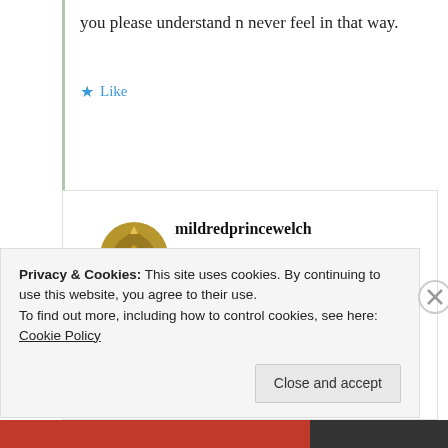you please understand n never feel in that way.
★ Like
Log in to Reply
mildredprincewelch
11th Jul 2021 at 7:27 am
You know and I know the truth about
Privacy & Cookies: This site uses cookies. By continuing to use this website, you agree to their use.
To find out more, including how to control cookies, see here: Cookie Policy
Close and accept